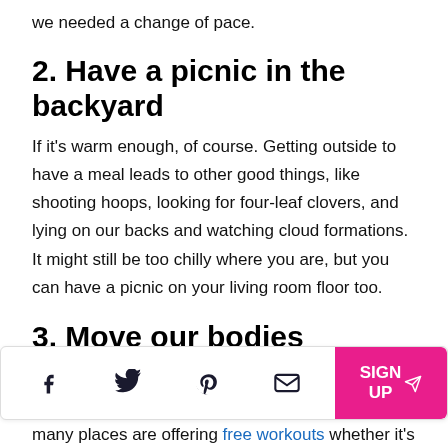we needed a change of pace.
2. Have a picnic in the backyard
If it's warm enough, of course. Getting outside to have a meal leads to other good things, like shooting hoops, looking for four-leaf clovers, and lying on our backs and watching cloud formations. It might still be too chilly where you are, but you can have a picnic on your living room floor too.
3. Move our bodies
My son's gym is closed and he's missing it. He used
many places are offering free workouts whether it's